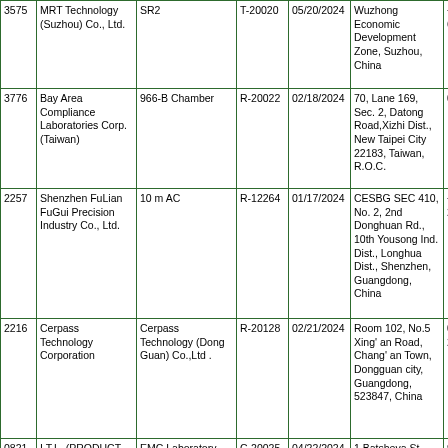| 3575 | MRT Technology (Suzhou) Co., Ltd. | SR2 | T-20020 | 05/20/2024 | Wuzhong Economic Development Zone, Suzhou, China | +8 66 |
| 3776 | Bay Area Compliance Laboratories Corp. (Taiwan) | 966-B Chamber | R-20022 | 02/18/2024 | 70, Lane 169, Sec. 2, Datong Road,Xizhi Dist., New Taipei City 22183, Taiwan, R.O.C. | 02- |
| 2257 | Shenzhen FuLian FuGui Precision Industry Co., Ltd. | 10 m AC | R-12264 | 01/17/2024 | CESBG SEC 410, No. 2, 2nd Donghuan Rd., 10th Yousong Ind. Dist., Longhua Dist., Shenzhen, Guangdong, China | +8 28 |
| 2216 | Cerpass Technology Corporation | Cerpass Technology (Dong Guan) Co.,Ltd . | R-20128 | 02/21/2024 | Room 102, No.5 Xing' an Road, Chang' an Town, Dongguan city, Guangdong, 523847, China | 07 28 |
| 0821 | I.T.L. (PRODUCT TESTING) LTD | EMC Laboratory, Telrad Industrial Park | C-20025 | 04/22/2024 | 1 Batsheva St., Lod, Israel | 97 |
| 0237 | Audix Technology Corporation | Audix Technology Corporation No.3 Shielded Room | T-11525 | 02/23/2024 | No. 67-4, Dingfu, Linkou Dist., New Taipei City, Taiwan | +8 |
| 2118 | Nemko Korea Co., Ltd. | Third building 3 m Chamber above 1 GHz | G-20027 | 01/21/2024 | 155, Osan-ro, Mohyeon-eup, Cheoin-gu, Yongin-si, Gyeonggi-do, Republic of Korea | +8 |